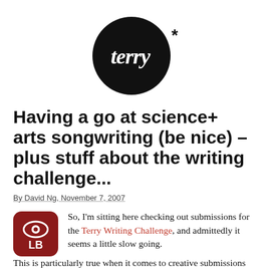[Figure (logo): Black circular logo with white cursive text 'terry' and an asterisk '*' to the right of the circle]
Having a go at science+ arts songwriting (be nice) – plus stuff about the writing challenge...
By David Ng, November 7, 2007
[Figure (logo): Dark red rounded square icon with an eye symbol on top and 'LB' text below]
So, I'm sitting here checking out submissions for the Terry Writing Challenge, and admittedly it seems a little slow going. This is particularly true when it comes to creative submissions (although don't forget that the academic